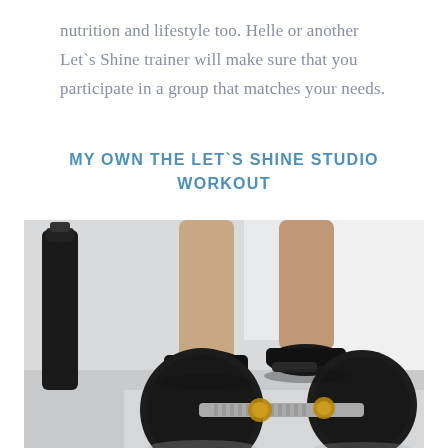nutrition and lifestyle too. Helle or another Let`s Shine trainer will make sure that you participate in a group that matches your needs.
MY OWN THE LET`S SHINE STUDIO WORKOUT
[Figure (photo): A close-up gym photo showing a pair of black dumbbells on a white floor in the foreground, with a person's legs in black athletic shoes visible in the background. A dark water bottle is on the left side.]